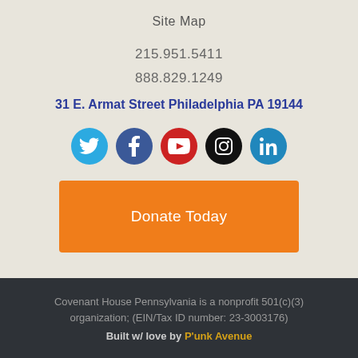Site Map
215.951.5411
888.829.1249
31 E. Armat Street Philadelphia PA 19144
[Figure (infographic): Five social media icon circles: Twitter (blue), Facebook (dark blue), YouTube (red), Instagram (black), LinkedIn (blue)]
Donate Today
Covenant House Pennsylvania is a nonprofit 501(c)(3) organization; (EIN/Tax ID number: 23-3003176)
Built w/ love by P'unk Avenue